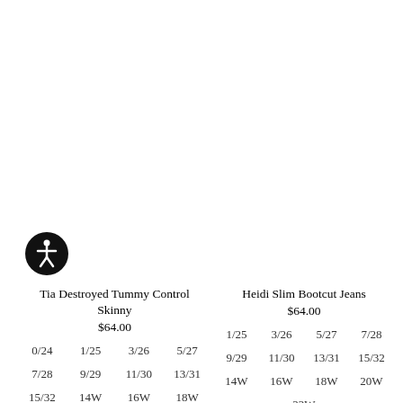[Figure (illustration): Accessibility icon: black circle with white human figure (wheelchair accessibility symbol)]
Tia Destroyed Tummy Control Skinny
$64.00
0/24  1/25  3/26  5/27
7/28  9/29  11/30  13/31
15/32  14W  16W  18W
Heidi Slim Bootcut Jeans
$64.00
1/25  3/26  5/27  7/28
9/29  11/30  13/31  15/32
14W  16W  18W  20W
22W